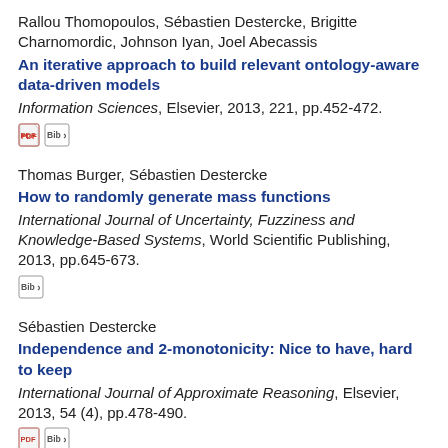Rallou Thomopoulos, Sébastien Destercke, Brigitte Charnomordic, Johnson Iyan, Joel Abecassis
An iterative approach to build relevant ontology-aware data-driven models
Information Sciences, Elsevier, 2013, 221, pp.452-472.
Thomas Burger, Sébastien Destercke
How to randomly generate mass functions
International Journal of Uncertainty, Fuzziness and Knowledge-Based Systems, World Scientific Publishing, 2013, pp.645-673.
Sébastien Destercke
Independence and 2-monotonicity: Nice to have, hard to keep
International Journal of Approximate Reasoning, Elsevier, 2013, 54 (4), pp.478-490.